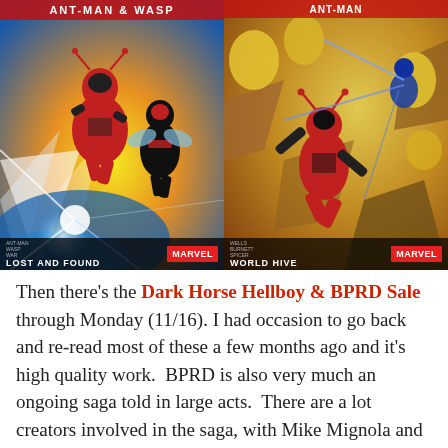[Figure (photo): Two Marvel comic book covers side by side. Left cover: Ant-Man & Wasp 'Lost and Found' Marvel comic showing two heroes in red/black suits flying against a blue/yellow energy background. Right cover: Ant-Man 'World Hive' Marvel comic showing a hero in red suit among rocky/chaotic environment with yellow creatures.]
Then there's the Dark Horse Hellboy & BPRD Sale through Monday (11/16). I had occasion to go back and re-read most of these a few months ago and it's high quality work.  BPRD is also very much an ongoing saga told in large acts.  There are a lot creators involved in the saga, with Mike Mignola and John Arcudi being the primary writers